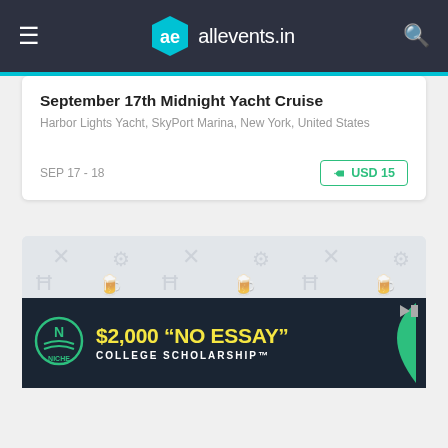allevents.in
September 17th Midnight Yacht Cruise
Harbor Lights Yacht, SkyPort Marina, New York, United States
SEP 17 - 18   USD 15
[Figure (illustration): Event placeholder image with repeating icons pattern on light gray background]
9/17 - Shake That Midnight Yacht Cruise
or Lights Yacht, SkyPort Marina, New York, United States
[Figure (infographic): Advertisement banner: $2,000 "NO ESSAY" COLLEGE SCHOLARSHIP by NICHE]